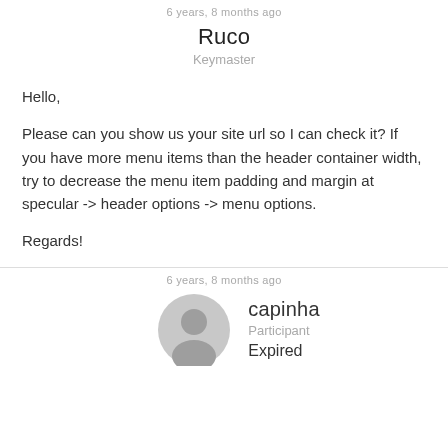6 years, 8 months ago
Ruco
Keymaster
Hello,
Please can you show us your site url so I can check it? If you have more menu items than the header container width, try to decrease the menu item padding and margin at specular -> header options -> menu options.
Regards!
6 years, 8 months ago
capinha
Participant
Expired